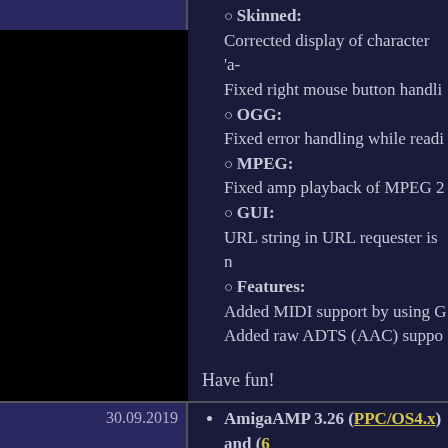Skinned: Corrected display of character 'a-... Fixed right mouse button handli...
OGG: Fixed error handling while readi...
MPEG: Fixed amp playback of MPEG 2...
GUI: URL string in URL requester is n...
Features: Added MIDI support by using G... Added raw ADTS (AAC) suppo...
Have fun!
AmigaAMP 3.26 (PPC/OS4.x) and (6... More bug fixes and stability improvem...
Fixed MP3 length calculation (es...
Fixed handling external decoding...
Added a set of alternative icons ...
Improved MP3 header detection.
About requester now also shows...
Fixed bugs introduced in v3.25.